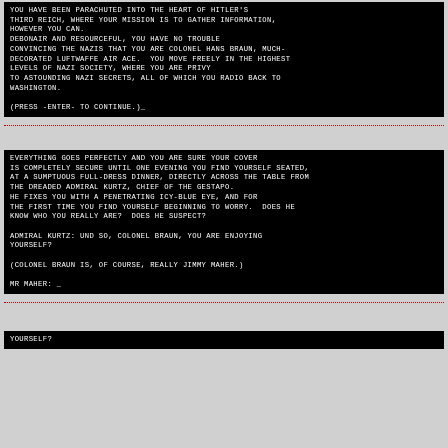YOU HAVE BEEN PARACHUTED INTO THE HEART OF HITLER'S THIRD REICH, WHERE YOUR MISSION IS TO GATHER INFORMATION, HOWEVER YOU CAN.
DEBONAIR AND RESOURCEFUL, YOU HAVE NO TROUBLE CONVINCING THE NAZIS THAT YOU ARE COLONEL HANS BRAUN, MUCH-DECORATED LUFTWAFFE AIR ACE.  YOU MOVE FREELY IN THE HIGHEST LEVELS OF NAZI SOCIETY, WHERE YOU ARE PRIVY TO ASTOUNDING NAZI SECRETS, ALL OF WHICH YOU RADIO BACK TO WASHINGTON.

(PRESS -ENTER- TO CONTINUE.)_
EVERYTHING GOES PERFECTLY AND YOU ARE SURE YOUR COVER IS COMPLETELY SECURE UNTIL ONE EVENING YOU FIND YOURSELF SEATED, AT A SUMPTUOUS FULL-DRESS DINNER, DIRECTLY ACROSS THE TABLE FROM THE DREADED ADMIRAL KURTZ, CHIEF OF THE GESTAPO.
HE FIXES YOU WITH A PENETRATING ICY-BLUE EYE, AND FOR THE FIRST TIME YOU FIND YOURSELF BEGINNING TO WORRY.  DOES HE KNOW WHO YOU REALLY ARE?  DOES HE SUSPECT?

ADMIRAL KURTZ: UND SO, COLONEL BRAUN, YOU ARE ENJOYING YOURSELF?

(COLONEL BRAUN IS, OF COURSE, REALLY JIMMY MAHER.)

MR MAHER: _
YOURSELF?